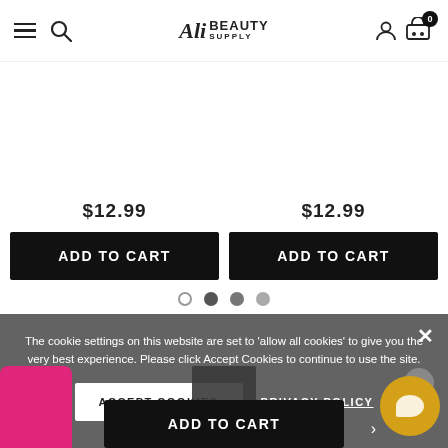Ali Beauty Supply - navigation header with hamburger menu, search, logo, user and cart icons
$12.99
$12.99
ADD TO CART
ADD TO CART
[Figure (other): Carousel pagination dots: one empty circle and three filled gray circles]
The cookie settings on this website are set to 'allow all cookies' to give you the very best experience. Please click Accept Cookies to continue to use the site.
ACCEPT COOKIES
PRIVACY POLICY
ADD TO CART